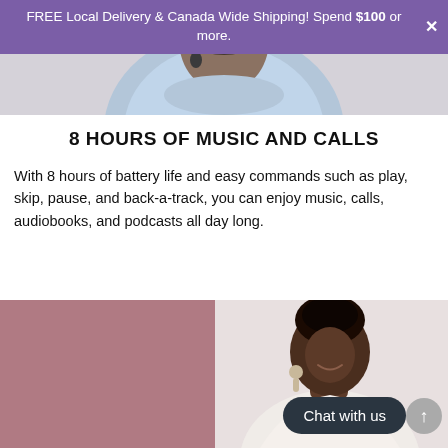FREE Local Delivery & Canada Wide Shipping! Spend $100 or more.
[Figure (photo): Person wearing a light blue long-sleeve shirt, upper body shot, slightly cropped at top]
8 HOURS OF MUSIC AND CALLS
With 8 hours of battery life and easy commands such as play, skip, pause, and back-a-track, you can enjoy music, calls, audiobooks, and podcasts all day long.
[Figure (photo): Smiling woman with dark hair pulled up, wearing earrings, on the right half of the image; left half is a muted pink/mauve color block]